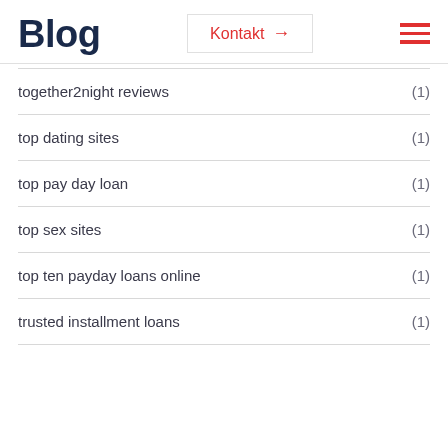Blog
together2night reviews (1)
top dating sites (1)
top pay day loan (1)
top sex sites (1)
top ten payday loans online (1)
trusted installment loans (1)